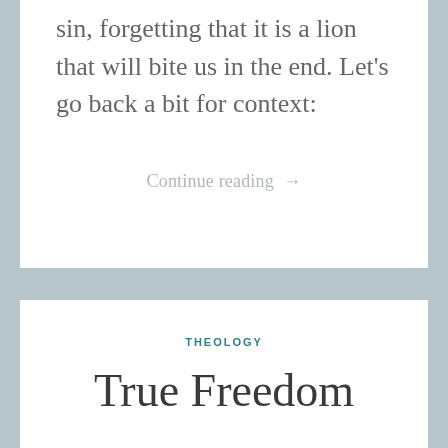sin, forgetting that it is a lion that will bite us in the end. Let's go back a bit for context:
Continue reading →
THEOLOGY
True Freedom